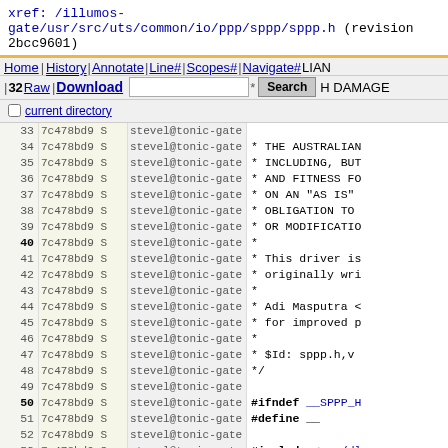xref: /illumos-gate/usr/src/uts/common/io/ppp/sppp/sppp.h (revision 2bcc9601)
Home | History| Annotate|Line# | Scopes# |Navigate# | Raw | Download  Search  current directory
| line | commit | author | code |
| --- | --- | --- | --- |
| 33 | 7c478bd9 S | stevel@tonic-gate |  |
| 34 | 7c478bd9 S | stevel@tonic-gate | * THE AUSTRALIAN |
| 35 | 7c478bd9 S | stevel@tonic-gate | * INCLUDING, BUT |
| 36 | 7c478bd9 S | stevel@tonic-gate | * AND FITNESS FO |
| 37 | 7c478bd9 S | stevel@tonic-gate | * ON AN "AS IS" |
| 38 | 7c478bd9 S | stevel@tonic-gate | * OBLIGATION TO |
| 39 | 7c478bd9 S | stevel@tonic-gate | * OR MODIFICATIO |
| 40 | 7c478bd9 S | stevel@tonic-gate | * |
| 41 | 7c478bd9 S | stevel@tonic-gate | * This driver is |
| 42 | 7c478bd9 S | stevel@tonic-gate | * originally wri |
| 43 | 7c478bd9 S | stevel@tonic-gate | * |
| 44 | 7c478bd9 S | stevel@tonic-gate | * Adi Masputra < |
| 45 | 7c478bd9 S | stevel@tonic-gate | * for improved p |
| 46 | 7c478bd9 S | stevel@tonic-gate | * |
| 47 | 7c478bd9 S | stevel@tonic-gate | * $Id: sppp.h,v |
| 48 | 7c478bd9 S | stevel@tonic-gate | */ |
| 49 | 7c478bd9 S | stevel@tonic-gate |  |
| 50 | 7c478bd9 S | stevel@tonic-gate | #ifndef __SPPP_H |
| 51 | 7c478bd9 S | stevel@tonic-gate | #define |
| 52 | 7c478bd9 S | stevel@tonic-gate |  |
| 53 | 7c478bd9 S | stevel@tonic-gate | #include <sys/dlp |
| 54 | 7c478bd9 S | stevel@tonic-gate | #include <net/ppp |
| 55 | 7c478bd9 S | stevel@tonic-gate |  |